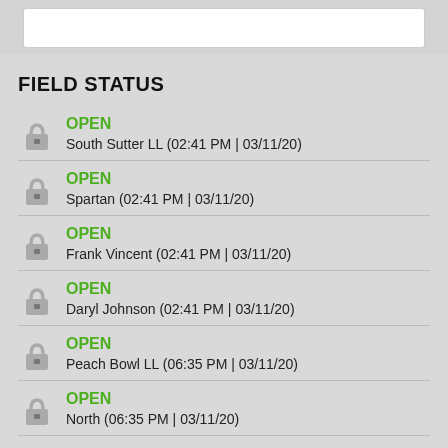FIELD STATUS
OPEN — South Sutter LL (02:41 PM | 03/11/20)
OPEN — Spartan (02:41 PM | 03/11/20)
OPEN — Frank Vincent (02:41 PM | 03/11/20)
OPEN — Daryl Johnson (02:41 PM | 03/11/20)
OPEN — Peach Bowl LL (06:35 PM | 03/11/20)
OPEN — North (06:35 PM | 03/11/20)
SITE LINKS